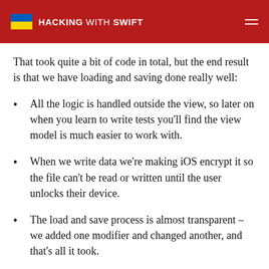HACKING WITH SWIFT
That took quite a bit of code in total, but the end result is that we have loading and saving done really well:
All the logic is handled outside the view, so later on when you learn to write tests you’ll find the view model is much easier to work with.
When we write data we’re making iOS encrypt it so the file can’t be read or written until the user unlocks their device.
The load and save process is almost transparent – we added one modifier and changed another, and that’s all it took.